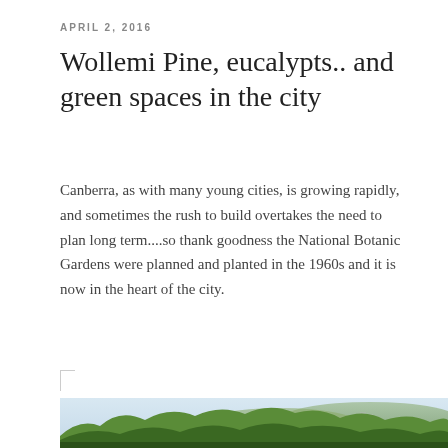APRIL 2, 2016
Wollemi Pine, eucalypts.. and green spaces in the city
Canberra, as with many young cities, is growing rapidly, and sometimes the rush to build overtakes the need to plan long term....so thank goodness the National Botanic Gardens were planned and planted in the 1960s and it is now in the heart of the city.
[Figure (photo): A lush green canopy of eucalyptus and other trees at the National Botanic Gardens in Canberra, with hills and buildings visible in the background against a pale sky.]